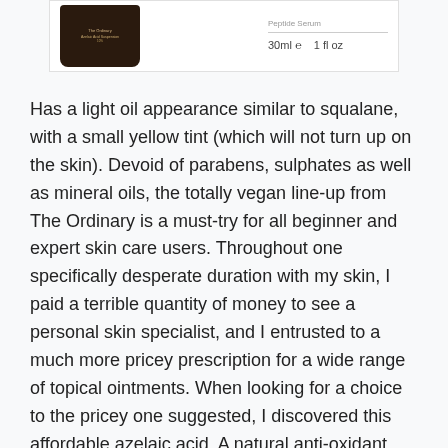[Figure (photo): Product image of The Ordinary azelaic acid serum bottle, dark brown glass bottle with label, showing 30ml / 1 fl oz size information]
Has a light oil appearance similar to squalane, with a small yellow tint (which will not turn up on the skin). Devoid of parabens, sulphates as well as mineral oils, the totally vegan line-up from The Ordinary is a must-try for all beginner and expert skin care users. Throughout one specifically desperate duration with my skin, I paid a terrible quantity of money to see a personal skin specialist, and I entrusted to a much more pricey prescription for a wide range of topical ointments. When looking for a choice to the pricey one suggested, I discovered this affordable azelaic acid. A natural anti-oxidant, azelaic acid is an ultra-gentle active ingredient that secures the skin, brightens tone,